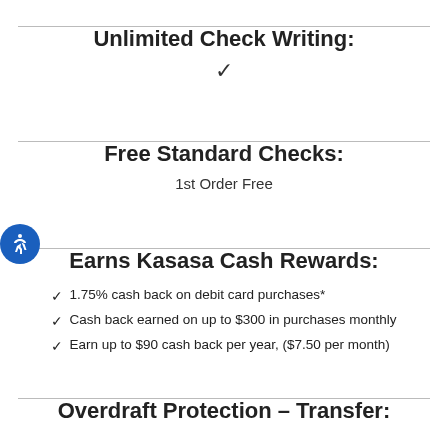Unlimited Check Writing:
✓
Free Standard Checks:
1st Order Free
Earns Kasasa Cash Rewards:
1.75% cash back on debit card purchases*
Cash back earned on up to $300 in purchases monthly
Earn up to $90 cash back per year, ($7.50 per month)
Overdraft Protection – Transfer: